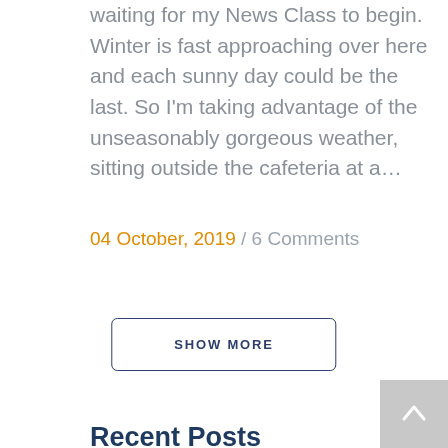waiting for my News Class to begin. Winter is fast approaching over here and each sunny day could be the last. So I'm taking advantage of the unseasonably gorgeous weather, sitting outside the cafeteria at a...
04 October, 2019 / 6 Comments
SHOW MORE
Recent Posts
Calling All Potential Blog Authors
Ideas to explain our profession to